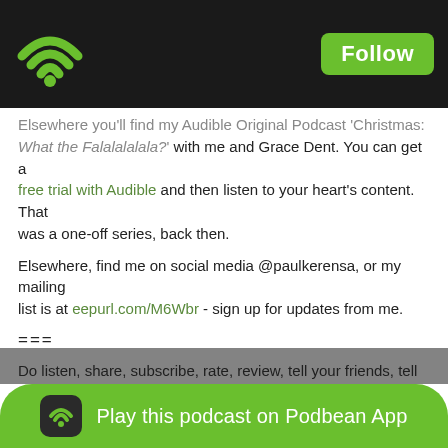Podbean app header with WiFi logo and Follow button
Elsewhere you'll find my Audible Original Podcast 'Christmas: What the Falalalalala?' with me and Grace Dent. You can get a free trial with Audible and then listen to your heart's content. That was a one-off series, back then.
Elsewhere, find me on social media @paulkerensa, or my mailing list is at eepurl.com/M6Wbr - sign up for updates from me.
===
Do listen, share, subscribe, rate, review, tell your friends, tell your old schoolfriends, tell the world...
...and like our podcast page on Facebook: Facebook.com/PaulKerensaPodcast
See me on tour: See my website paulkerensa.com/tour for details.
Fancy tipping? ko-fi.com/paulkerensa chips in the price of a cuppa coffee, or patreon.com/paulkerensa has extra audio, video & writings, in exchange for your monthly support - right now that's mostly geeky things about the BBC origin story, but hey, they're things I do... corner of t'internet! ...game
Play this podcast on Podbean App